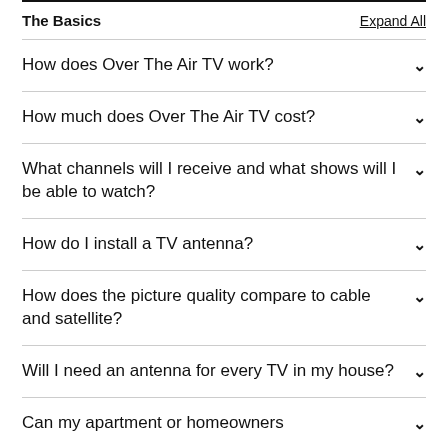The Basics
How does Over The Air TV work?
How much does Over The Air TV cost?
What channels will I receive and what shows will I be able to watch?
How do I install a TV antenna?
How does the picture quality compare to cable and satellite?
Will I need an antenna for every TV in my house?
Can my apartment or homeowners